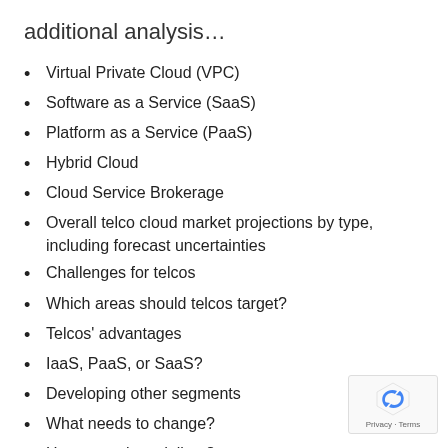additional analysis…
Virtual Private Cloud (VPC)
Software as a Service (SaaS)
Platform as a Service (PaaS)
Hybrid Cloud
Cloud Service Brokerage
Overall telco cloud market projections by type, including forecast uncertainties
Challenges for telcos
Which areas should telcos target?
Telcos' advantages
IaaS, PaaS, or SaaS?
Developing other segments
What needs to change?
How can telcos deliver?
Telcos' key strengths